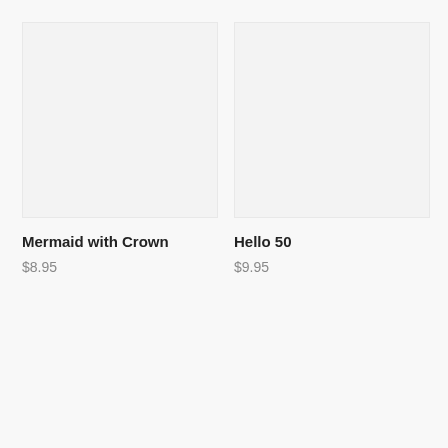[Figure (photo): Product image placeholder for Mermaid with Crown — light gray empty image box]
Mermaid with Crown
$8.95
[Figure (photo): Product image placeholder for Hello 50 — light gray empty image box]
Hello 50
$9.95